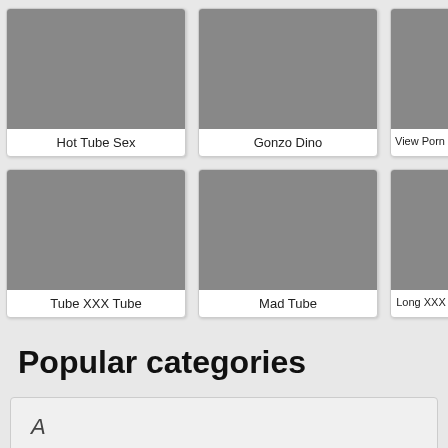[Figure (screenshot): Grid of video thumbnail cards, row 1: Hot Tube Sex, Gonzo Dino, View Porn Tube]
[Figure (screenshot): Grid of video thumbnail cards, row 2: Tube XXX Tube, Mad Tube, Long XXX]
Popular categories
A
Dildos
Asian
Dicking
Anal
Double Anal
Amateur
Dp